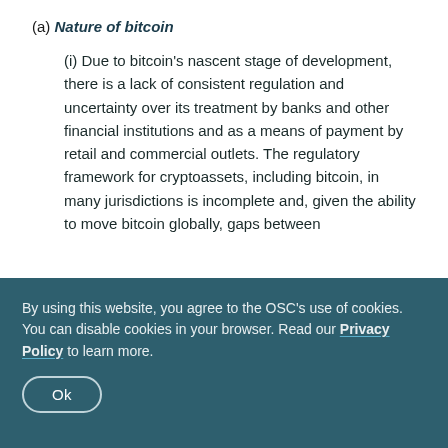(a) Nature of bitcoin
(i) Due to bitcoin's nascent stage of development, there is a lack of consistent regulation and uncertainty over its treatment by banks and other financial institutions and as a means of payment by retail and commercial outlets. The regulatory framework for cryptoassets, including bitcoin, in many jurisdictions is incomplete and, given the ability to move bitcoin globally, gaps between
By using this website, you agree to the OSC's use of cookies. You can disable cookies in your browser. Read our Privacy Policy to learn more.